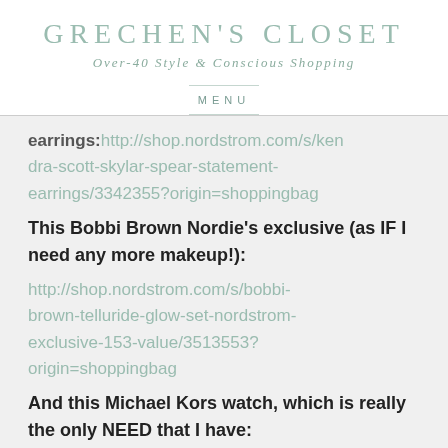GRECHEN'S CLOSET
Over-40 Style & Conscious Shopping
MENU
earrings:http://shop.nordstrom.com/s/kendra-scott-skylar-spear-statement-earrings/3342355?origin=shoppingbag
This Bobbi Brown Nordie's exclusive (as IF I need any more makeup!):
http://shop.nordstrom.com/s/bobbi-brown-telluride-glow-set-nordstrom-exclusive-153-value/3513553?origin=shoppingbag
And this Michael Kors watch, which is really the only NEED that I have: